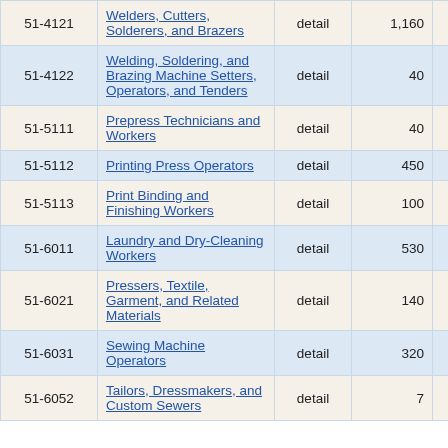| Code | Occupation | Level | Employment | ... |
| --- | --- | --- | --- | --- |
| 51-4121 | Welders, Cutters, Solderers, and Brazers | detail | 1,160 | 7... |
| 51-4122 | Welding, Soldering, and Brazing Machine Setters, Operators, and Tenders | detail | 40 | 21... |
| 51-5111 | Prepress Technicians and Workers | detail | 40 | 13... |
| 51-5112 | Printing Press Operators | detail | 450 | 9... |
| 51-5113 | Print Binding and Finishing Workers | detail | 100 | 11... |
| 51-6011 | Laundry and Dry-Cleaning Workers | detail | 530 | 10... |
| 51-6021 | Pressers, Textile, Garment, and Related Materials | detail | 140 | 13... |
| 51-6031 | Sewing Machine Operators | detail | 320 | 10... |
| 51-6052 | Tailors, Dressmakers, and Custom Sewers | detail | 7... |  |